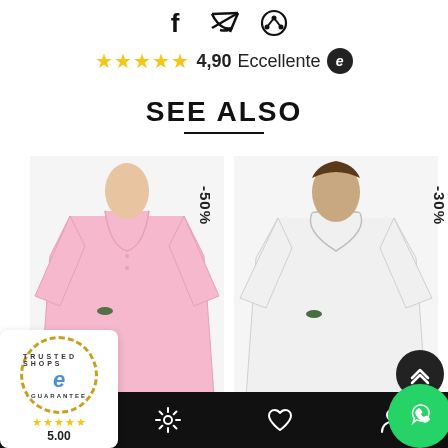[Figure (screenshot): Social share icons: Facebook, Twitter, Pinterest]
★★★★★ 4,90 Eccellente
SEE ALSO
[Figure (photo): Pink Lacoste polo shirt with -50% discount badge and Trusted Shops guarantee badge showing 5.00 rating]
[Figure (photo): White Lacoste polo shirt with -30% discount badge, scroll-up button, and WhatsApp contact button]
Navigation bar with search, settings, wishlist, and account icons